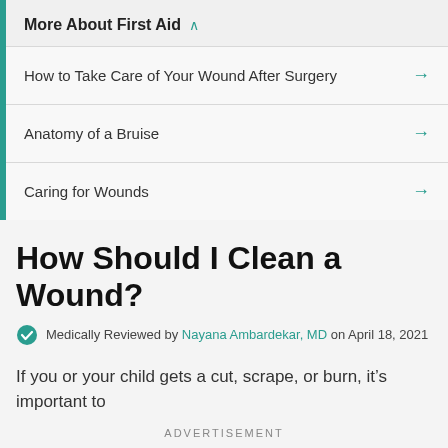More About First Aid
How to Take Care of Your Wound After Surgery
Anatomy of a Bruise
Caring for Wounds
How Should I Clean a Wound?
Medically Reviewed by Nayana Ambardekar, MD on April 18, 2021
If you or your child gets a cut, scrape, or burn, it’s important to
ADVERTISEMENT